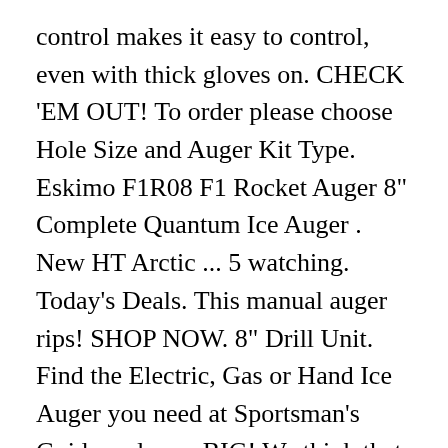control makes it easy to control, even with thick gloves on. CHECK 'EM OUT! To order please choose Hole Size and Auger Kit Type. Eskimo F1R08 F1 Rocket Auger 8" Complete Quantum Ice Auger . New HT Arctic ... 5 watching. Today's Deals. This manual auger rips! SHOP NOW. 8" Drill Unit. Find the Electric, Gas or Hand Ice Auger you need at Sportsman's Guide and save BIG! We think that should be enough for most situations. SKU. Take control of your next ice fishing excursion with precision ice augers from DICK'S Sporting Goods. Free shipping. 10" Drill Unit. Fastened with screws, the adapter will fit firmly onto the auger. Polar Fire Ice Augers. Skip to the end of the images gallery. This auger is both durable